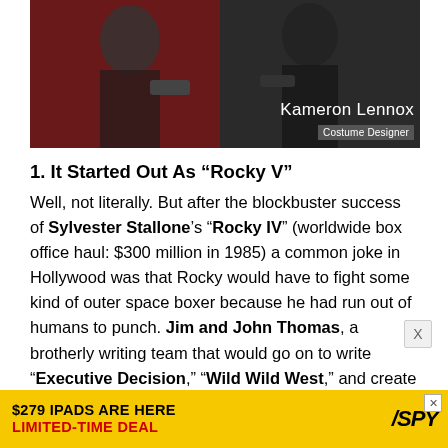[Figure (photo): A dark scene showing people, with a name overlay reading 'Kameron Lennox' and subtitle 'Costume Designer' in the bottom right corner]
1. It Started Out As “Rocky V”
Well, not literally. But after the blockbuster success of Sylvester Stallone’s “Rocky IV” (worldwide box office haul: $300 million in 1985) a common joke in Hollywood was that Rocky would have to fight some kind of outer space boxer because he had run out of humans to punch. Jim and John Thomas, a brotherly writing team that would go on to write “Executive Decision,” “Wild Wild West,” and create the cult sci-fi series “Hard Time on Planet Earth,” took the joke to heart and wrote a script
$279 IPADS ARE HERE LIMITED-TIME DEAL /SPY